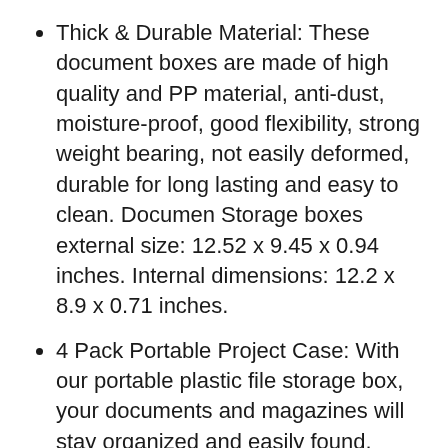Thick & Durable Material: These document boxes are made of high quality and PP material, anti-dust, moisture-proof, good flexibility, strong weight bearing, not easily deformed, durable for long lasting and easy to clean. Documen Storage boxes external size: 12.52 x 9.45 x 0.94 inches. Internal dimensions: 12.2 x 8.9 x 0.71 inches.
4 Pack Portable Project Case: With our portable plastic file storage box, your documents and magazines will stay organized and easily found. Which is prevent the loss wrinkle or damage of your important documents and help to keep your desktop drawers neat and